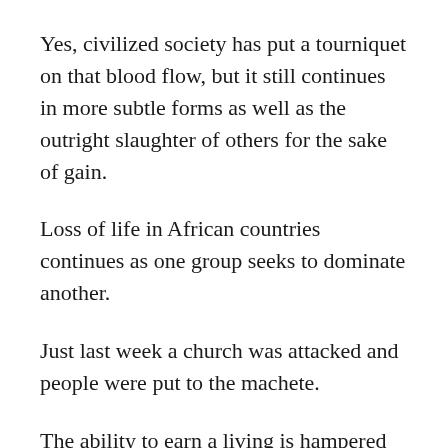Yes, civilized society has put a tourniquet on that blood flow, but it still continues in more subtle forms as well as the outright slaughter of others for the sake of gain.
Loss of life in African countries continues as one group seeks to dominate another.
Just last week a church was attacked and people were put to the machete.
The ability to earn a living is hampered in Muslim countries like Pakistan.
The majority rules and they greatly hinder anyone who is not a Muslim from finding a decent job.